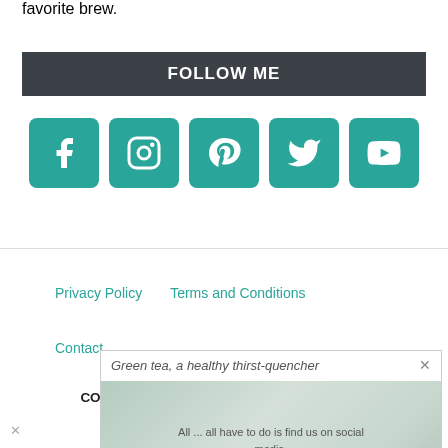favorite brew.
FOLLOW ME
[Figure (infographic): Five social media icon buttons (Facebook, Instagram, Pinterest, Twitter, YouTube) in teal/green rounded square buttons]
Privacy Policy   Terms and Conditions
Contact
[Figure (screenshot): Popup overlay showing 'Green tea, a healthy thirst-quencher' with body text about social media and a close X button, overlaid on a tea background image]
COPYRIGHT © 2022 TOPICTEA. ALL RIGHTS RESERVED.